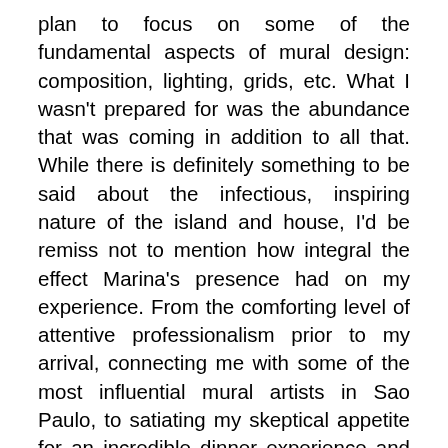plan to focus on some of the fundamental aspects of mural design: composition, lighting, grids, etc. What I wasn't prepared for was the abundance that was coming in addition to all that. While there is definitely something to be said about the infectious, inspiring nature of the island and house, I'd be remiss not to mention how integral the effect Marina's presence had on my experience. From the comforting level of attentive professionalism prior to my arrival, connecting me with some of the most influential mural artists in Sao Paulo, to satiating my skeptical appetite for an incredible dinner experience and intuitively navigating the different ways I needed to be advised or given space when I felt stuck creatively allowing me to not only accomplish the things I intended, but encouraged the occasional pause I needed to reflect and release a false sense of control which, in the end, allowed my process to unfold